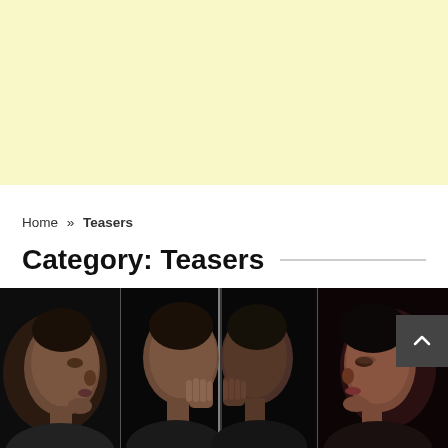[Figure (other): Light yellow/cream colored advertisement banner block]
Home » Teasers
Category: Teasers
[Figure (photo): Three-panel photo strip showing Black women faces in dramatic dark lighting. Left panel shows an older woman in profile facing right. Center panel shows a woman facing a glass/mirror with hands pressed against it. Right panel shows a younger woman in profile facing left. All against black backgrounds.]